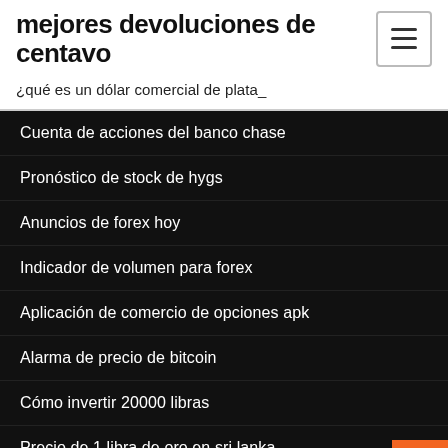mejores devoluciones de centavo
¿qué es un dólar comercial de plata_
Cuenta de acciones del banco chase
Pronóstico de stock de hygs
Anuncios de forex hoy
Indicador de volumen para forex
Aplicación de comercio de opciones apk
Alarma de precio de bitcoin
Cómo invertir 20000 libras
Precio de 1 libra de oro en sri lanka
Rendimiento de faang stocks ytd
Ford motor company precio más bajo de las acciones